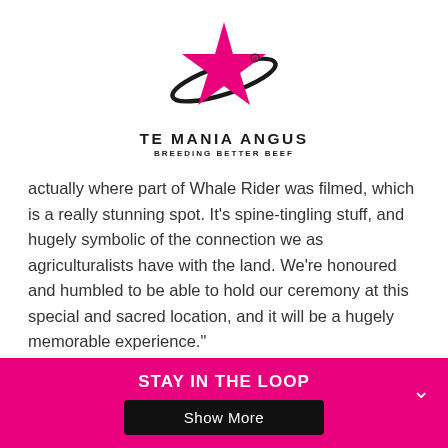[Figure (logo): Te Mania Angus logo — pink/magenta star with a dark orbital ring around it, above the text TE MANIA ANGUS and BREEDING BETTER BEEF]
actually where part of Whale Rider was filmed, which is a really stunning spot. It’s spine-tingling stuff, and hugely symbolic of the connection we as agriculturalists have with the land. We’re honoured and humbled to be able to hold our ceremony at this special and sacred location, and it will be a hugely memorable experience.”
The 2021 Award has been adapted in response to COVID-19 border restrictions in Australia and New Zealand, crowning
STAY IN THE LOOP
Show More